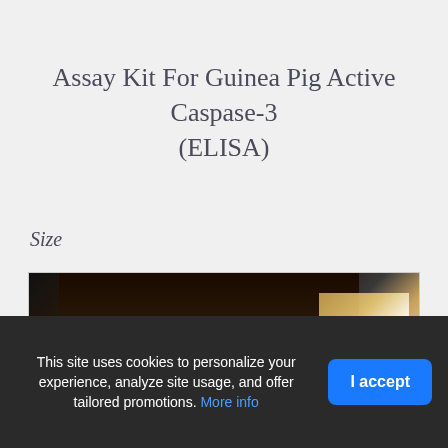Assay Kit For Guinea Pig Active Caspase-3 (ELISA)
Size
[Figure (photo): Close-up photo of a dark laboratory bottle or reagent vial with a label, partially lit against a light background]
This site uses cookies to personalize your experience, analyze site usage, and offer tailored promotions. More info
I accept